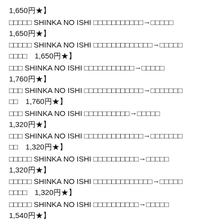1,650円★】
【ポッチャマ SHINKA NO ISHI 【ポッチャマ→ポッポ】【】 1,650円★】
【ポッチャマ SHINKA NO ISHI 【ポッチャマ→ポッポ】【】 【】 1,650円★】
【】 SHINKA NO ISHI 【ポッチャマ→ポッポ】【】 1,760円★】
【】 SHINKA NO ISHI 【ポッチャマ→ポッポ】【】 【】 1,760円★】
【】 SHINKA NO ISHI 【ポッチャマ→ポッポ】【】 1,320円★】
【】 SHINKA NO ISHI 【ポッチャマ→ポッポ】【】 【】 1,320円★】
【ポッチャマ SHINKA NO ISHI 【ポッチャマ→ポッポ】【】 1,320円★】
【ポッチャマ SHINKA NO ISHI 【ポッチャマ→ポッポ】【】 【】 1,320円★】
【ポッチャマ SHINKA NO ISHI 【ポッチャマ→ポッポ】【】 1,540円★】